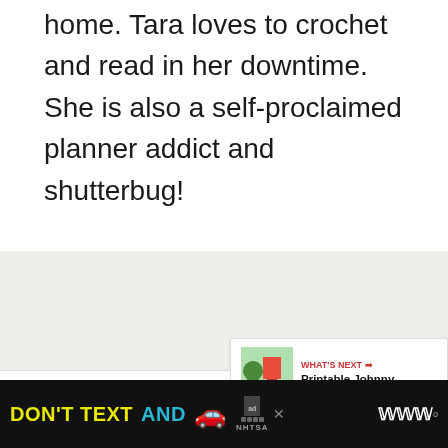home. Tara loves to crochet and read in her downtime. She is also a self-proclaimed planner addict and shutterbug!
« Count Your Buttons Day
Preschool Basic Skills Flip Books »
[Figure (screenshot): WHAT'S NEXT arrow banner with thumbnail image and text 'Printable Johnny...']
[Figure (screenshot): DON'T TEXT AND [car emoji] advertisement banner with NHTSA logo, ad label, and W logo on black background]